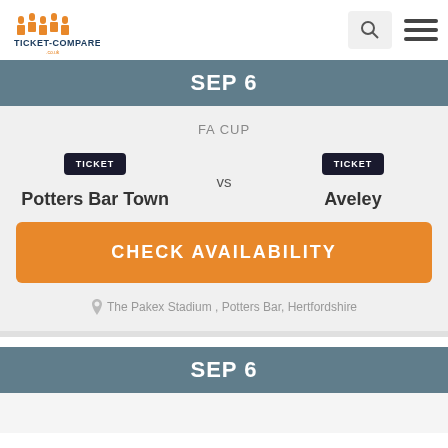Ticket-Compare logo, search icon, hamburger menu
SEP 6
FA CUP
Potters Bar Town VS Aveley
CHECK AVAILABILITY
The Pakex Stadium , Potters Bar, Hertfordshire
SEP 6